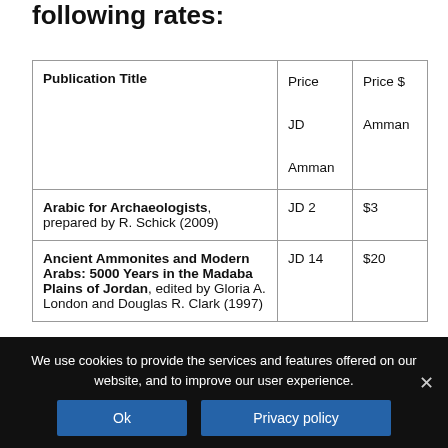following rates:
| Publication Title | Price JD Amman | Price $ Amman |
| --- | --- | --- |
| Arabic for Archaeologists, prepared by R. Schick (2009) | JD 2 | $3 |
| Ancient Ammonites and Modern Arabs: 5000 Years in the Madaba Plains of Jordan, edited by Gloria A. London and Douglas R. Clark (1997) | JD 14 | $20 |
We use cookies to provide the services and features offered on our website, and to improve our user experience.